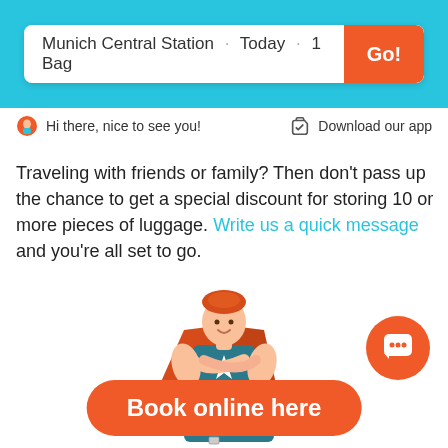Munich Central Station · Today · 1 Bag
Hi there, nice to see you!
Download our app
Traveling with friends or family? Then don't pass up the chance to get a special discount for storing 10 or more pieces of luggage. Write us a quick message and you're all set to go.
[Figure (illustration): Cartoon superhero character with red cape and star on chest, sitting on stacked luggage suitcases, wearing yellow boots]
Book online here